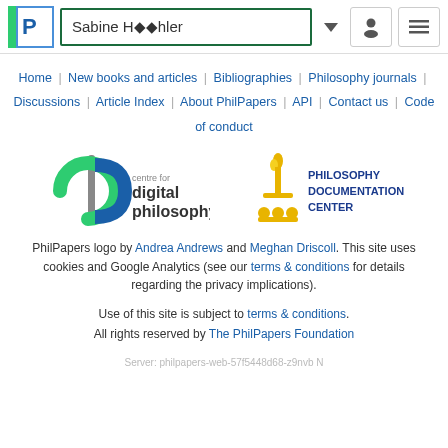Sabine Höhler
Home | New books and articles | Bibliographies | Philosophy journals | Discussions | Article Index | About PhilPapers | API | Contact us | Code of conduct
[Figure (logo): Centre for Digital Philosophy logo and Philosophy Documentation Center logo]
PhilPapers logo by Andrea Andrews and Meghan Driscoll. This site uses cookies and Google Analytics (see our terms & conditions for details regarding the privacy implications).
Use of this site is subject to terms & conditions. All rights reserved by The PhilPapers Foundation
Server: philpapers-web-57f5448d68-z9nvb N